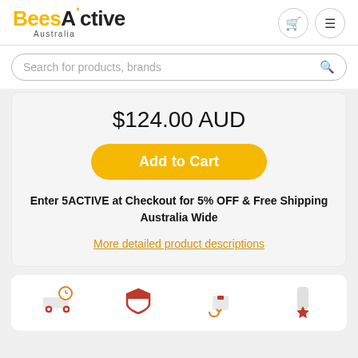[Figure (logo): BeesActive Australia logo — 'Bees' in yellow, 'Active' in dark grey with a yellow dot over the 'i', 'Australia' in small grey text below]
[Figure (infographic): Header icons: shopping cart circle button and hamburger menu circle button]
Search for products, brands
$124.00 AUD
Add to Cart
Enter 5ACTIVE at Checkout for 5% OFF & Free Shipping Australia Wide
More detailed product descriptions
[Figure (infographic): Bottom strip showing four service icons: delivery truck with clock (orange), shield (orange), return parcel (orange), bookmark/star (orange)]